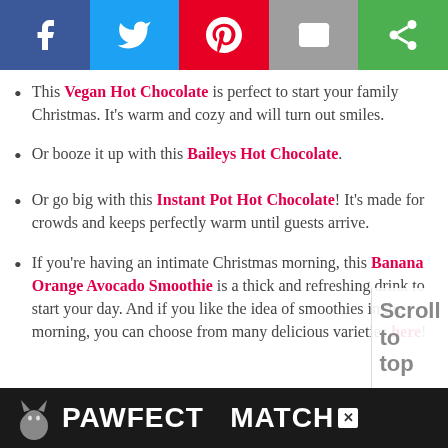[Figure (other): Social media share bar with Facebook (blue), Twitter (light blue), Pinterest (red), Email (gray), and another share option (green) buttons with white icons]
This Vegan Hot Chocolate is perfect to start your family Christmas. It's warm and cozy and will turn out smiles.
Or booze it up with this Baileys Hot Chocolate.
Or go big with this Instant Pot Hot Chocolate! It's made for crowds and keeps perfectly warm until guests arrive.
If you're having an intimate Christmas morning, this Banana Orange Avocado Smoothie is a thick and refreshing drink to start your day. And if you like the idea of smoothies in the morning, you can choose from many delicious varieties here!
[Figure (screenshot): Advertisement banner at bottom reading PAWFECT MATCH with a cat graphic in dark background]
Scroll to top